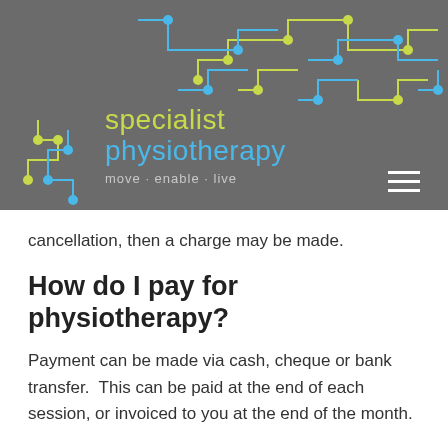[Figure (logo): Specialist Physiotherapy logo with circuit board decorative elements on grey background, tagline: move · enable · live]
cancellation, then a charge may be made.
How do I pay for physiotherapy?
Payment can be made via cash, cheque or bank transfer.  This can be paid at the end of each session, or invoiced to you at the end of the month.